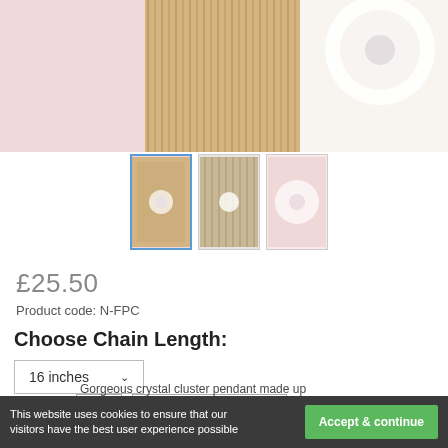[Figure (photo): Product hero image showing jewelry (crystal pendant/earrings) displayed on pink lace fabric, wooden surface, and white flower backdrop]
[Figure (photo): Three thumbnail images of the jewelry product from different angles]
£25.50
Product code: N-FPC
Choose Chain Length:
16 inches (dropdown selector)
Quantity: 1 | ADD TO CART
This website uses cookies to ensure that our visitors have the best user experience possible    Gorgeous crystal cluster pendant made up    Accept & continue